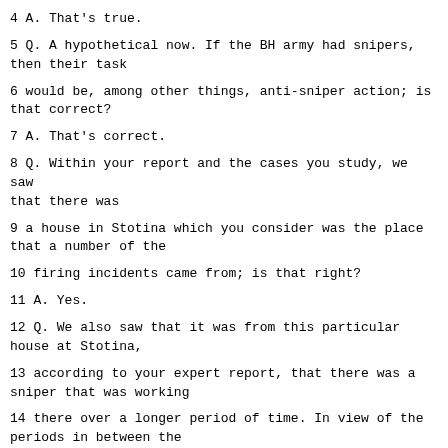4 A. That's true.
5 Q. A hypothetical now. If the BH army had snipers, then their task
6 would be, among other things, anti-sniper action; is that correct?
7 A. That's correct.
8 Q. Within your report and the cases you study, we saw that there was
9 a house in Stotina which you consider was the place that a number of the
10 firing incidents came from; is that right?
11 A. Yes.
12 Q. We also saw that it was from this particular house at Stotina,
13 according to your expert report, that there was a sniper that was working
14 there over a longer period of time. In view of the periods in between the
15 various incidents, it would make this a longer period of time; is that